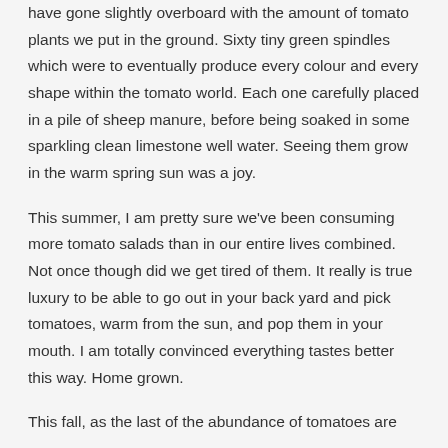have gone slightly overboard with the amount of tomato plants we put in the ground. Sixty tiny green spindles which were to eventually produce every colour and every shape within the tomato world. Each one carefully placed in a pile of sheep manure, before being soaked in some sparkling clean limestone well water. Seeing them grow in the warm spring sun was a joy.
This summer, I am pretty sure we've been consuming more tomato salads than in our entire lives combined. Not once though did we get tired of them. It really is true luxury to be able to go out in your back yard and pick tomatoes, warm from the sun, and pop them in your mouth. I am totally convinced everything tastes better this way. Home grown.
This fall, as the last of the abundance of tomatoes are